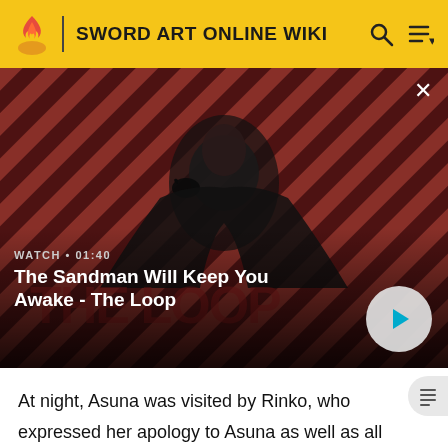SWORD ART ONLINE WIKI
[Figure (screenshot): Video thumbnail showing a dark-robed figure with a raven on shoulder against red and black diagonal stripe background. Video title overlay reads: WATCH • 01:40 / The Sandman Will Keep You Awake - The Loop]
The Sandman Will Keep You Awake - The Loop
At night, Asuna was visited by Rinko, who expressed her apology to Asuna as well as all SAO players by not interrupting Kayaba Akihiko's plan. Asuna responded that she did not have any resentment toward Rinko.